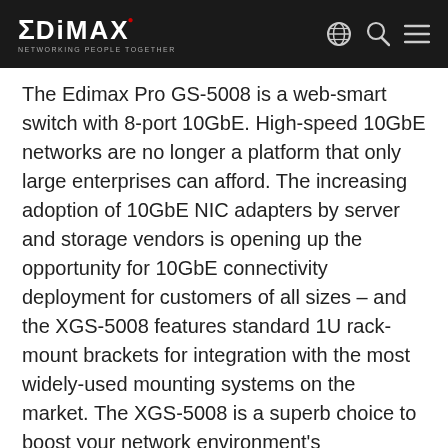EDIMAX NETWORKING PEOPLE TOGETHER
The Edimax Pro GS-5008 is a web-smart switch with 8-port 10GbE. High-speed 10GbE networks are no longer a platform that only large enterprises can afford. The increasing adoption of 10GbE NIC adapters by server and storage vendors is opening up the opportunity for 10GbE connectivity deployment for customers of all sizes – and the XGS-5008 features standard 1U rack-mount brackets for integration with the most widely-used mounting systems on the market. The XGS-5008 is a superb choice to boost your network environment's performance and efficiency.
Smart Tools for Improved Network Efficiency